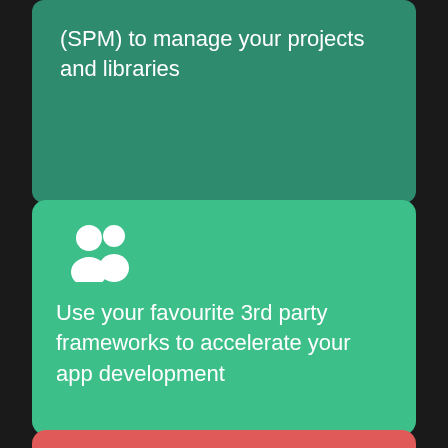(SPM) to manage your projects and libraries
[Figure (illustration): White people/team icon (two person silhouettes) on green background]
Use your favourite 3rd party frameworks to accelerate your app development
[Figure (illustration): White expand/fullscreen cross arrows icon on red/coral background card (partially visible at bottom)]